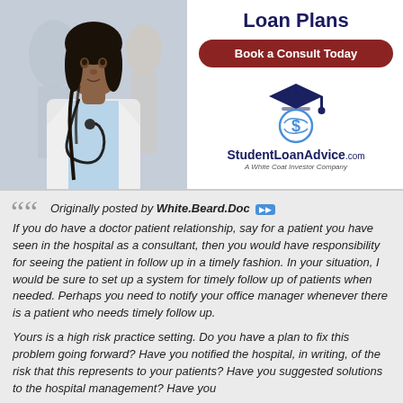Loan Plans
Book a Consult Today
[Figure (logo): StudentLoanAdvice.com logo with graduation cap and dollar sign icon. A White Coat Investor Company.]
[Figure (photo): Female doctor wearing white coat and stethoscope, looking at camera.]
Originally posted by White.Beard.Doc
If you do have a doctor patient relationship, say for a patient you have seen in the hospital as a consultant, then you would have responsibility for seeing the patient in follow up in a timely fashion. In your situation, I would be sure to set up a system for timely follow up of patients when needed. Perhaps you need to notify your office manager whenever there is a patient who needs timely follow up.
Yours is a high risk practice setting. Do you have a plan to fix this problem going forward? Have you notified the hospital, in writing, of the risk that this represents to your patients? Have you suggested solutions to the hospital management? Have you asked the hospital to fix this problem? Have you